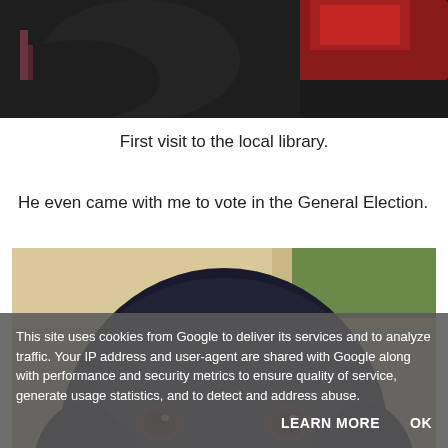[Figure (photo): Top portion of a photo showing a black dog with a red vest/harness on a dark background with a yellow element visible]
First visit to the local library.
He even came with me to vote in the General Election.
[Figure (photo): Close-up photo of a black Labrador dog looking up at the camera with brown eyes, taken indoors on a light-colored floor]
This site uses cookies from Google to deliver its services and to analyze traffic. Your IP address and user-agent are shared with Google along with performance and security metrics to ensure quality of service, generate usage statistics, and to detect and address abuse.
LEARN MORE   OK